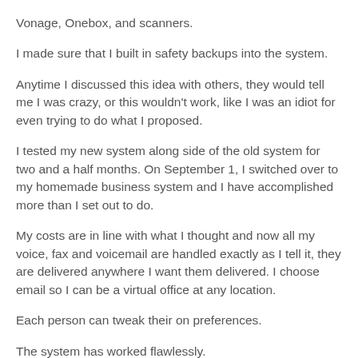Vonage, Onebox, and scanners.
I made sure that I built in safety backups into the system.
Anytime I discussed this idea with others, they would tell me I was crazy, or this wouldn't work, like I was an idiot for even trying to do what I proposed.
I tested my new system along side of the old system for two and a half months. On September 1, I switched over to my homemade business system and I have accomplished more than I set out to do.
My costs are in line with what I thought and now all my voice, fax and voicemail are handled exactly as I tell it, they are delivered anywhere I want them delivered. I choose email so I can be a virtual office at any location.
Each person can tweak their on preferences.
The system has worked flawlessly.